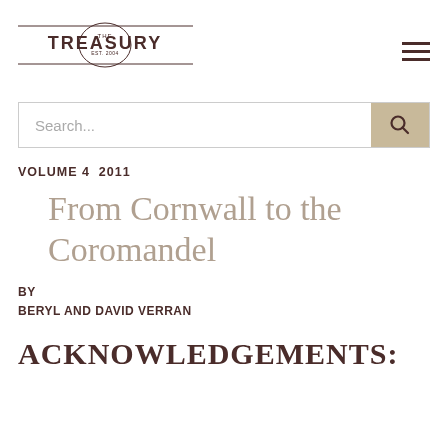[Figure (logo): The Treasury logo with decorative oval emblem, 'THE TREASURY' text and 'EST. 2004' in the badge. Horizontal lines above and below the text.]
Search...
VOLUME 4  2011
From Cornwall to the Coromandel
BY
BERYL AND DAVID VERRAN
ACKNOWLEDGEMENTS: